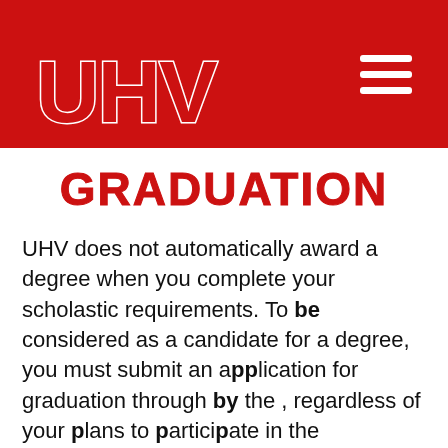[Figure (logo): UHV university logo in white text on red background with hamburger menu icon]
GRADUATION
UHV does not automatically award a degree when you complete your scholastic requirements. To be considered as a candidate for a degree, you must submit an application for graduation through by the , regardless of your plans to participate in the commencement ceremony. You can file an application either during the semester prior to, or during the semester in which you plan to graduate. It is suggested that students apply for graduation one semester prior to their intended graduation date. The application will trigger a detailed review,